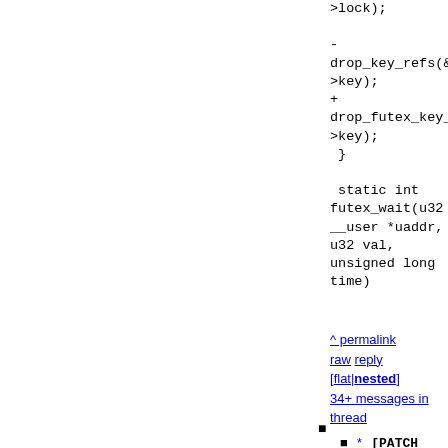>lock);

-
drop_key_refs(&c
>key);
+
drop_futex_key_r
>key);
 }

 static int
futex_wait(u32
__user *uaddr,
u32 val,
unsigned long
time)
^ permalink raw reply [flat|nested] 34+ messages in thread
■
* [PATCH 1/8]